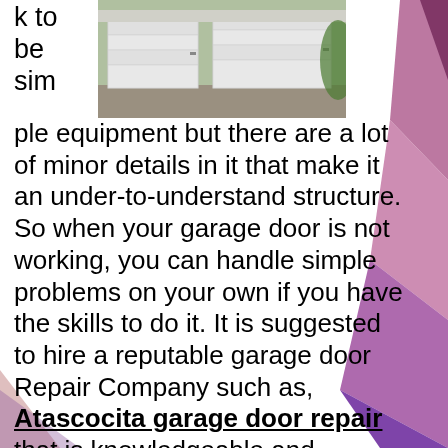[Figure (photo): Photo of white garage doors on a house exterior, viewed from outside on a gravel/paved surface.]
k to be sim ple equipment but there are a lot of minor details in it that make it an under-to-understand structure. So when your garage door is not working, you can handle simple problems on your own if you have the skills to do it. It is suggested to hire a reputable garage door Repair Company such as, Atascocita garage door repair that is knowledgeable and experienced in the field of a garage doors.
Before you decide who will do the garage door repair work, analyze the malfunctioning first. Sometimes, the problem is just simple that may need minor efforts that you can do yourself. You may need to replace the